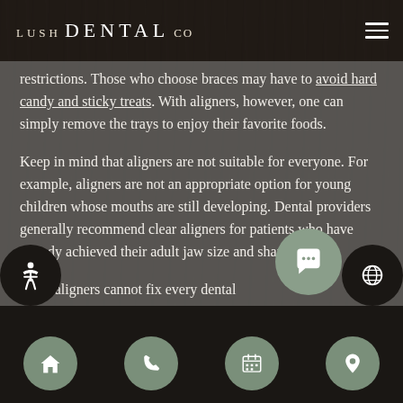LUSH DENTAL CO
restrictions. Those who choose braces may have to avoid hard candy and sticky treats. With aligners, however, one can simply remove the trays to enjoy their favorite foods.
Keep in mind that aligners are not suitable for everyone. For example, aligners are not an appropriate option for young children whose mouths are still developing. Dental providers generally recommend clear aligners for patients who have already achieved their adult jaw size and shape.
Clear aligners cannot fix every dental